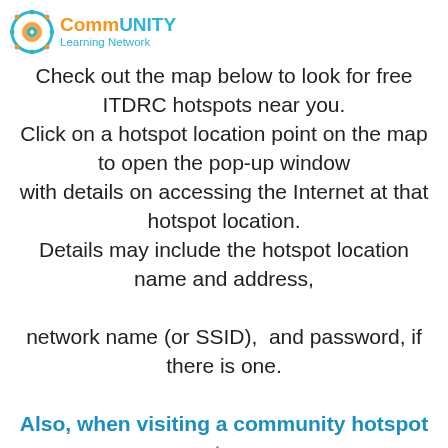[Figure (logo): CommUNITY Learning Network logo with orange/teal gear icon and text]
Check out the map below to look for free ITDRC hotspots near you. Click on a hotspot location point on the map to open the pop-up window with details on accessing the Internet at that hotspot location. Details may include the hotspot location name and address, network name (or SSID),  and password, if there is one. Also, when visiting a community hotspot to